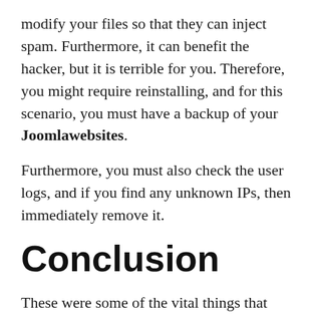modify your files so that they can inject spam. Furthermore, it can benefit the hacker, but it is terrible for you. Therefore, you might require reinstalling, and for this scenario, you must have a backup of your Joomlawebsites.
Furthermore, you must also check the user logs, and if you find any unknown IPs, then immediately remove it.
Conclusion
These were some of the vital things that you might learn even if your Joomla site is safe. There are many hackers out there who can make you a target and. Therefore, be safe, and keep the data of your users